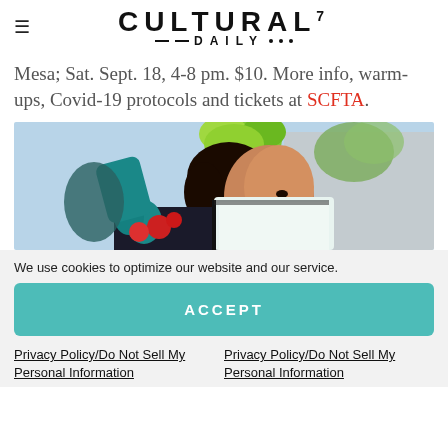CULTURAL7 DAILY
Mesa; Sat. Sept. 18, 4-8 pm. $10. More info, warm-ups, Covid-19 protocols and tickets at SCFTA.
[Figure (photo): A woman in traditional Mexican dance attire with floral headdress of tropical green leaves, wearing a black and white dress with colorful floral patterned fabric, smiling in profile view outdoors.]
We use cookies to optimize our website and our service.
ACCEPT
Privacy Policy/Do Not Sell My Personal Information
Privacy Policy/Do Not Sell My Personal Information